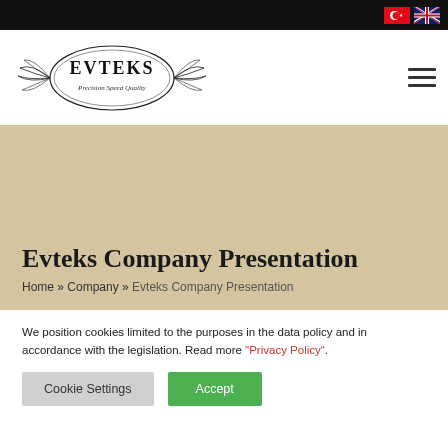[Figure (logo): Turkish flag and UK flag icons in top-right of black header bar]
[Figure (logo): Evteks company logo with ornate decorative border and text 'Precision Speed Quality']
Evteks Company Presentation
Home » Company » Evteks Company Presentation
We position cookies limited to the purposes in the data policy and in accordance with the legislation. Read more "Privacy Policy".
Cookie Settings  Accept